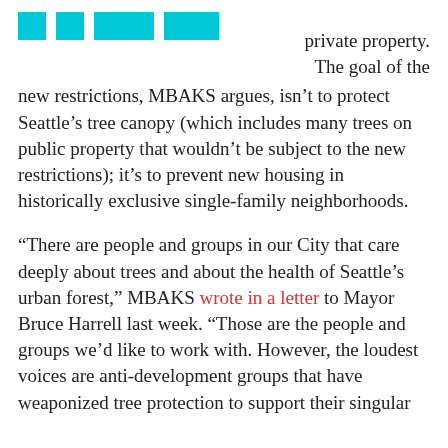[cyan decorative blocks] private property. The goal of the
new restrictions, MBAKS argues, isn't to protect Seattle's tree canopy (which includes many trees on public property that wouldn't be subject to the new restrictions); it's to prevent new housing in historically exclusive single-family neighborhoods.
“There are people and groups in our City that care deeply about trees and about the health of Seattle’s urban forest,” MBAKS wrote in a letter to Mayor Bruce Harrell last week. “Those are the people and groups we’d like to work with. However, the loudest voices are anti-development groups that have weaponized tree protection to support their singular